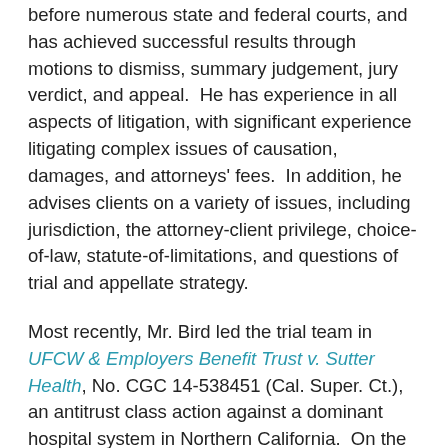before numerous state and federal courts, and has achieved successful results through motions to dismiss, summary judgement, jury verdict, and appeal.  He has experience in all aspects of litigation, with significant experience litigating complex issues of causation, damages, and attorneys' fees.  In addition, he advises clients on a variety of issues, including jurisdiction, the attorney-client privilege, choice-of-law, statute-of-limitations, and questions of trial and appellate strategy.
Most recently, Mr. Bird led the trial team in UFCW & Employers Benefit Trust v. Sutter Health, No. CGC 14-538451 (Cal. Super. Ct.), an antitrust class action against a dominant hospital system in Northern California.  On the eve of Mr. Bird's opening statement, the case settled for $575 million and comprehensive injunctive relief.
Mr. Bird has an active pro bono practice and has been named to the Capital Pro Bono Honor Roll.  He frequently